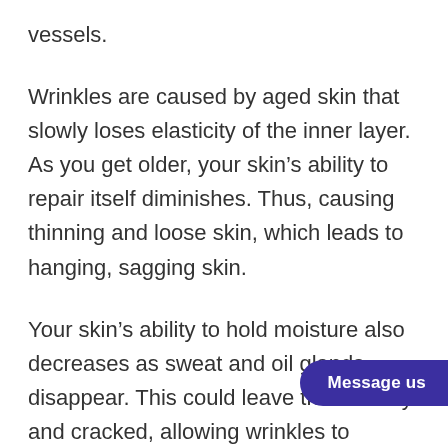vessels.
Wrinkles are caused by aged skin that slowly loses elasticity of the inner layer. As you get older, your skin's ability to repair itself diminishes. Thus, causing thinning and loose skin, which leads to hanging, sagging skin.
Your skin's ability to hold moisture also decreases as sweat and oil glands disappear. This could leave the skin dry and cracked, allowing wrinkles to become more prominent. This can cause you to feel insecure and self-conscious about yourself. It's an issue when simple things such as going out to socia… to be a nightmare. Especially when it was something